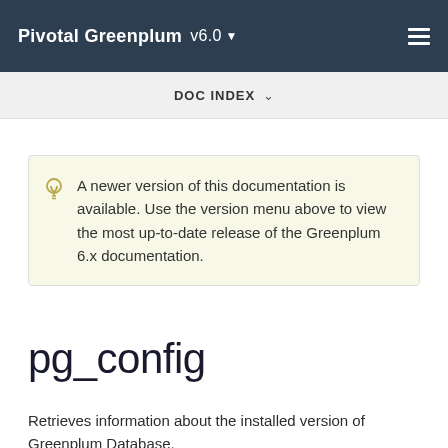Pivotal Greenplum v6.0
DOC INDEX
A newer version of this documentation is available. Use the version menu above to view the most up-to-date release of the Greenplum 6.x documentation.
pg_config
Retrieves information about the installed version of Greenplum Database.